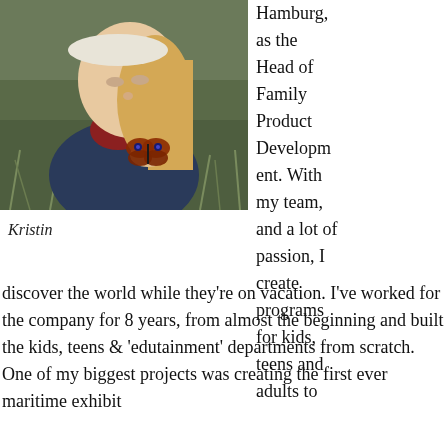[Figure (photo): A woman with long blonde hair wearing a white knitted headband and a plaid scarf holds a butterfly (peacock butterfly) on her finger, looking down at it. She is outdoors in a grassy field wearing a dark blue jacket.]
Kristin
Hamburg, as the Head of Family Product Development. With my team, and a lot of passion, I create programs for kids, teens and adults to discover the world while they're on vacation. I've worked for the company for 8 years, from almost the beginning and built the kids, teens & 'edutainment' departments from scratch. One of my biggest projects was creating the first ever maritime exhibit